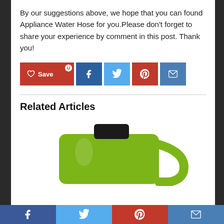By our suggestions above, we hope that you can found Appliance Water Hose for you.Please don’t forget to share your experience by comment in this post. Thank you!
[Figure (infographic): Social sharing buttons: Save (red), Facebook (dark blue), Twitter (light blue), Pinterest (red), Email (blue). Notification badge 'U' on Save button.]
Related Articles
[Figure (photo): Green plastic container/jug with black cap, partially shown at bottom of page. Heart/save icon in upper right of image area.]
[Figure (infographic): Bottom sticky social share bar: Facebook, Twitter, Pinterest, Email buttons spanning full width.]